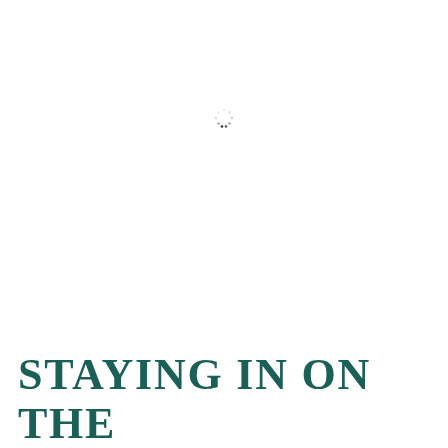[Figure (other): A small loading spinner icon centered on the page, consisting of small dots arranged in a circle with two darker dots at the bottom]
STAYING IN ON THE